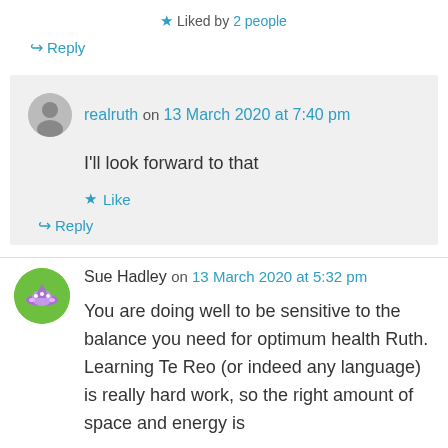★ Liked by 2 people
↪ Reply
realruth on 13 March 2020 at 7:40 pm
I'll look forward to that
★ Like
↪ Reply
Sue Hadley on 13 March 2020 at 5:32 pm
You are doing well to be sensitive to the balance you need for optimum health Ruth. Learning Te Reo (or indeed any language) is really hard work, so the right amount of space and energy is